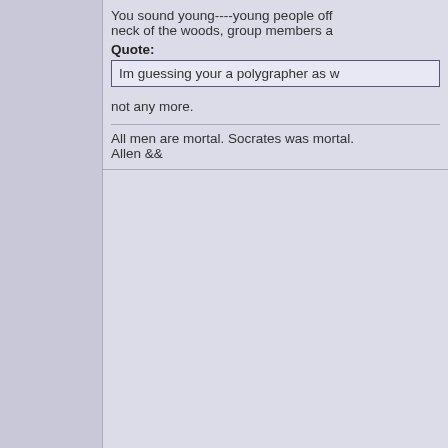You sound young----young people off neck of the woods, group members a
Quote: Im guessing your a polygrapher as w
not any more.
All men are mortal. Socrates was mortal. Allen &&
Forgo0509
New User
Offline
Posts: 7
Joined: Jan 21st, 2008
Re: Need to take the poly graph.
Reply #11 - Jan 22nd, 2008 at 6:41am
Then give me a run down so I dont g unless I know everything about some.
Im not asking what type of tactics you questions. what is the post poly inte